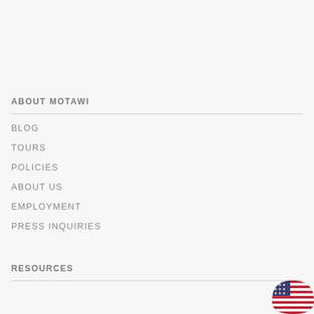ABOUT MOTAWI
BLOG
TOURS
POLICIES
ABOUT US
EMPLOYMENT
PRESS INQUIRIES
RESOURCES
FAQS
[Figure (illustration): Partial US flag icon in bottom-right corner]